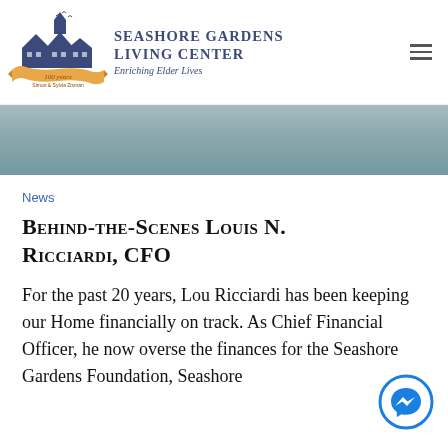SEASHORE GARDENS LIVING CENTER — Enriching Elder Lives
[Figure (photo): Partial photo of a person in a blue shirt, cropped to show just the upper portion of their face/head against a light background]
News
Behind-the-Scenes Louis N. Ricciardi, CFO
For the past 20 years, Lou Ricciardi has been keeping our Home financially on track. As Chief Financial Officer, he now oversees the finances for the Seashore Gardens Foundation, Seashore